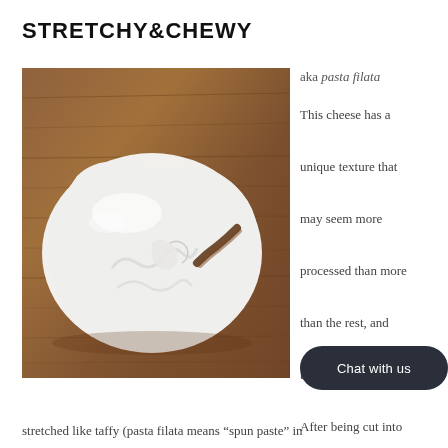STRETCHY&CHEWY
[Figure (photo): A ball of fresh mozzarella cheese torn open on a wooden cutting board, showing its white stretchy interior texture.]
aka pasta filata
This cheese has a unique texture that may seem more processed than more than the rest, and that's because it is. After being cut into curds, it is drained an...in ...en
stretched like taffy (pasta filata means “spun paste” in